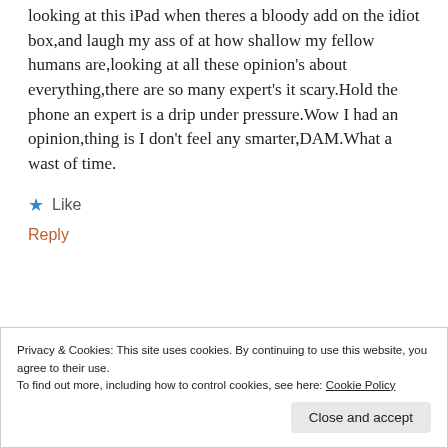looking at this iPad when theres a bloody add on the idiot box,and laugh my ass of at how shallow my fellow humans are,looking at all these opinion's about everything,there are so many expert's it scary.Hold the phone an expert is a drip under pressure.Wow I had an opinion,thing is I don't feel any smarter,DAM.What a wast of time.
★ Like
Reply
Privacy & Cookies: This site uses cookies. By continuing to use this website, you agree to their use.
To find out more, including how to control cookies, see here: Cookie Policy
Close and accept